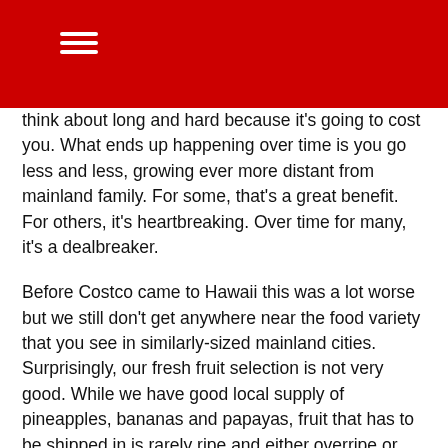[Figure (other): Red header bar with hamburger menu icon (three horizontal white lines)]
think about long and hard because it's going to cost you. What ends up happening over time is you go less and less, growing ever more distant from mainland family. For some, that's a great benefit. For others, it's heartbreaking. Over time for many, it's a dealbreaker.
Before Costco came to Hawaii this was a lot worse but we still don't get anywhere near the food variety that you see in similarly-sized mainland cities. Surprisingly, our fresh fruit selection is not very good. While we have good local supply of pineapples, bananas and papayas, fruit that has to be shipped in is rarely ripe and either overripe or underripe. Peaches are the best example: we only get really sweet and juicy peaches for perhaps 2-3 weeks out of the year with substandard selection after that.
Restaurants are a problem too. Hawaii has a large selection of Asian-centric restaurants but after that it falls off the cliff.